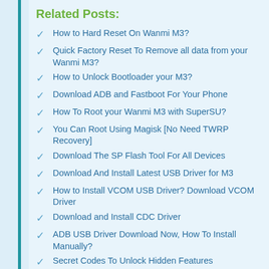Related Posts:
How to Hard Reset On Wanmi M3?
Quick Factory Reset To Remove all data from your Wanmi M3?
How to Unlock Bootloader your M3?
Download ADB and Fastboot For Your Phone
How To Root your Wanmi M3 with SuperSU?
You Can Root Using Magisk [No Need TWRP Recovery]
Download The SP Flash Tool For All Devices
Download And Install Latest USB Driver for M3
How to Install VCOM USB Driver? Download VCOM Driver
Download and Install CDC Driver
ADB USB Driver Download Now, How To Install Manually?
Secret Codes To Unlock Hidden Features